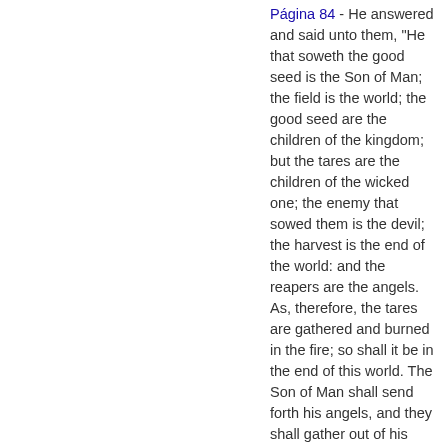Página 84 - He answered and said unto them, "He that soweth the good seed is the Son of Man; the field is the world; the good seed are the children of the kingdom; but the tares are the children of the wicked one; the enemy that sowed them is the devil; the harvest is the end of the world: and the reapers are the angels. As, therefore, the tares are gathered and burned in the fire; so shall it be in the end of this world. The Son of Man shall send forth his angels, and they shall gather out of his kingdom all...
Aparece en 614 libros desde 1803-2008